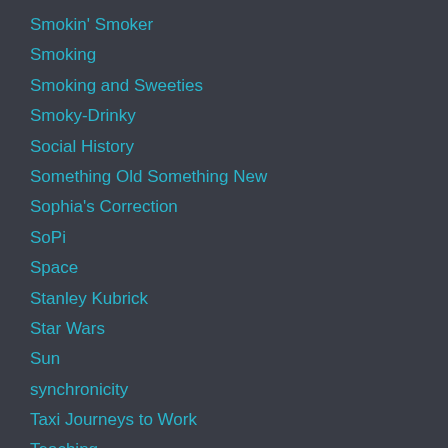Smokin' Smoker
Smoking
Smoking and Sweeties
Smoky-Drinky
Social History
Something Old Something New
Sophia's Correction
SoPi
Space
Stanley Kubrick
Star Wars
Sun
synchronicity
Taxi Journeys to Work
Teaching
Teenagers' Priorities
The Beatles
The Blue Smoking universe (nutrition)